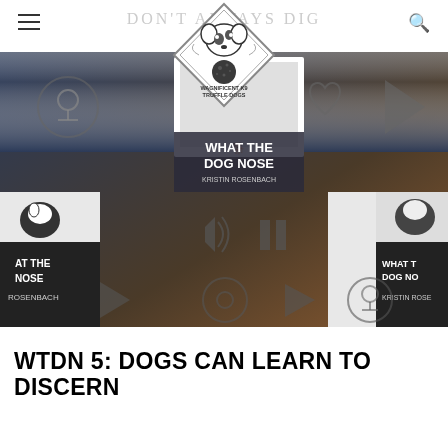DON'T ALWAYS DIG
[Figure (screenshot): Podcast player screenshot showing 'What The Dog Nose' by Kristin Rosenbach with podcast episode artwork and media controls including play, pause, volume, and navigation buttons on a dark blue-brown gradient background]
[Figure (logo): Wagnificent K9 Truffle Dogs logo — diamond-shaped badge with a dog illustration and a truffle]
WTDN 5: DOGS CAN LEARN TO DISCERN